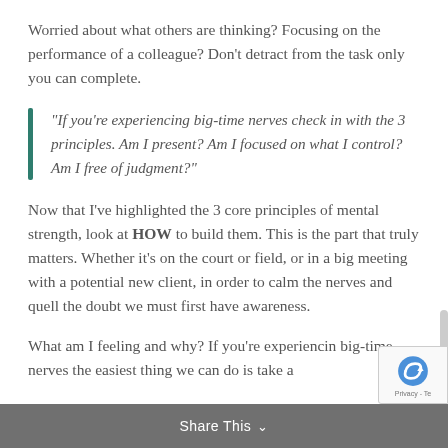Worried about what others are thinking? Focusing on the performance of a colleague? Don't detract from the task only you can complete.
“If you’re experiencing big-time nerves check in with the 3 principles. Am I present? Am I focused on what I control? Am I free of judgment?”
Now that I’ve highlighted the 3 core principles of mental strength, look at HOW to build them. This is the part that truly matters. Whether it’s on the court or field, or in a big meeting with a potential new client, in order to calm the nerves and quell the doubt we must first have awareness.
What am I feeling and why? If you’re experiencin big-time nerves the easiest thing we can do is take a